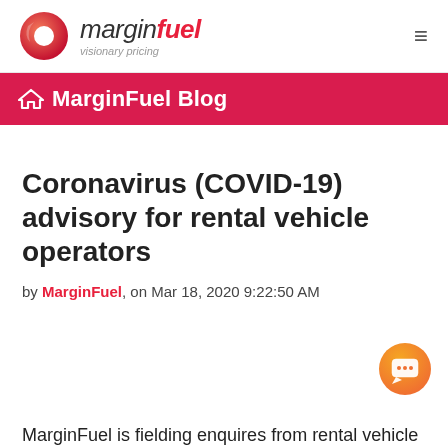marginfuel visionary pricing
MarginFuel Blog
Coronavirus (COVID-19) advisory for rental vehicle operators
by MarginFuel, on Mar 18, 2020 9:22:50 AM
MarginFuel is fielding enquires from rental vehicle